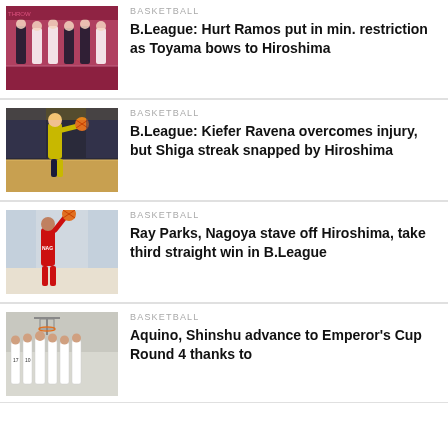[Figure (photo): Basketball players standing on court in dark and white uniforms, indoor arena with red floor]
BASKETBALL
B.League: Hurt Ramos put in min. restriction as Toyama bows to Hiroshima
[Figure (photo): Basketball player in yellow/dark uniform dribbling on court]
BASKETBALL
B.League: Kiefer Ravena overcomes injury, but Shiga streak snapped by Hiroshima
[Figure (photo): Basketball player in red uniform shooting the ball]
BASKETBALL
Ray Parks, Nagoya stave off Hiroshima, take third straight win in B.League
[Figure (photo): Basketball team group photo in white uniforms in a gymnasium]
BASKETBALL
Aquino, Shinshu advance to Emperor's Cup Round 4 thanks to